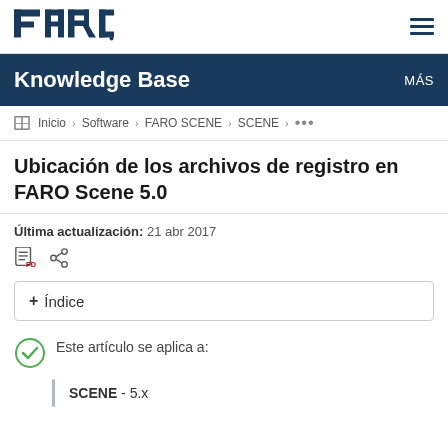[Figure (logo): FARO logo in dark blue]
Knowledge Base   MÁS
Inicio › Software › FARO SCENE › SCENE › ...
Ubicación de los archivos de registro en FARO Scene 5.0
Última actualización: 21 abr 2017
+ Índice
Este artículo se aplica a:
SCENE - 5.x